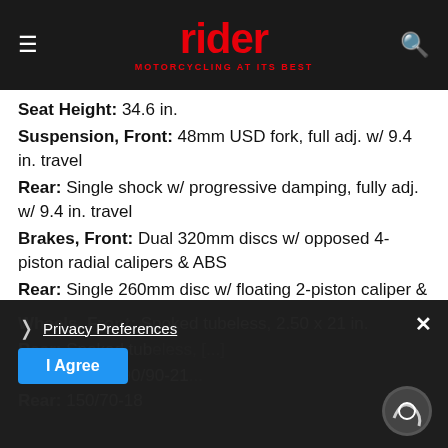rider — MOTORCYCLING AT ITS BEST
Seat Height: 34.6 in.
Suspension, Front: 48mm USD fork, full adj. w/ 9.4 in. travel
Rear: Single shock w/ progressive damping, fully adj. w/ 9.4 in. travel
Brakes, Front: Dual 320mm discs w/ opposed 4-piston radial calipers & ABS
Rear: Single 260mm disc w/ floating 2-piston caliper & ABS
Wheels, Front: Spoked tubeless, 2.50 x 21 in.
Rear: Spoked tubeless, [obscured]
Tires, Front: 90/90-21
Rear: 150/70-18